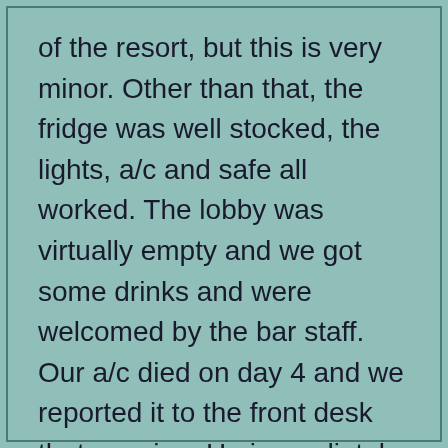of the resort, but this is very minor. Other than that, the fridge was well stocked, the lights, a/c and safe all worked. The lobby was virtually empty and we got some drinks and were welcomed by the bar staff. Our a/c died on day 4 and we reported it to the front desk that evening. He immediately sent someone up to check it. We went back to see him after dinner and he told us there was nothing he could do for the a/c that night. However, he gave us a key to a vacant room and the a/c worked just fine. We requested he move us there for the rest of our stay and all our stuff was moved the